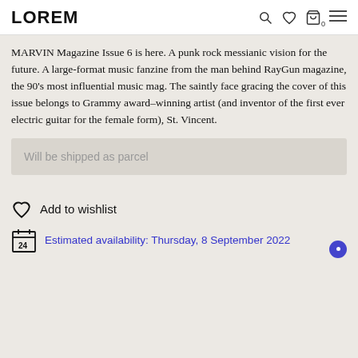LOREM
MARVIN Magazine Issue 6 is here. A punk rock messianic vision for the future. A large-format music fanzine from the man behind RayGun magazine, the 90’s most influential music mag. The saintly face gracing the cover of this issue belongs to Grammy award–winning artist (and inventor of the first ever electric guitar for the female form), St. Vincent.
Will be shipped as parcel
Add to wishlist
Estimated availability: Thursday, 8 September 2022